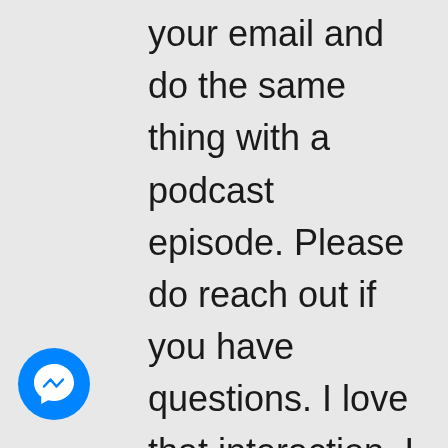your email and do the same thing with a podcast episode. Please do reach out if you have questions. I love that interaction, I love that opportunity. I want to take your question because you are not the only one with that question; there are others out there. I want to take the questions that you
[Figure (logo): Facebook Messenger icon — blue circle with white lightning bolt / chat bubble symbol]